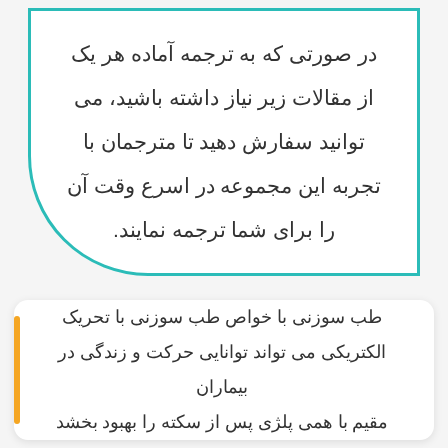در صورتی که به ترجمه آماده هر یک از مقالات زیر نیاز داشته باشید، می توانید سفارش دهید تا مترجمان با تجربه این مجموعه در اسرع وقت آن را برای شما ترجمه نمایند.
طب سوزنی با خواص طب سوزنی با تحریک الکتریکی می تواند توانایی حرکت و زندگی در بیماران مقیم با همی پلژی پس از سکته را بهبود بخشد